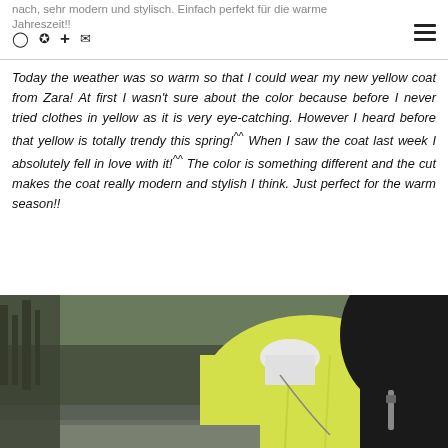nach, sehr modern und stylisch. Einfach perfekt für die warme Jahreszeit!!
Today the weather was so warm so that I could wear my new yellow coat from Zara! At first I wasn't sure about the color because before I never tried clothes in yellow as it is very eye-catching. However I heard before that yellow is totally trendy this spring!^^ When I saw the coat last week I absolutely fell in love with it!^^ The color is something different and the cut makes the coat really modern and stylish I think. Just perfect for the warm season!!
[Figure (photo): Photo of a person wearing a yellow coat outdoors, dark background with trees, close-up side view]